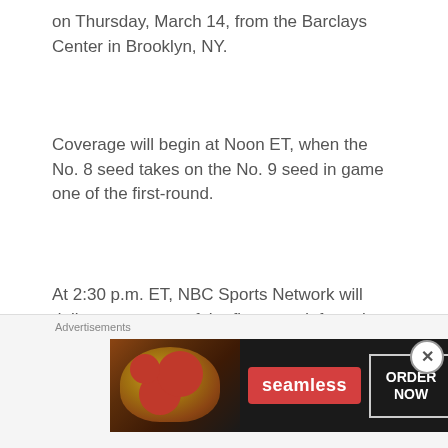on Thursday, March 14, from the Barclays Center in Brooklyn, NY.
Coverage will begin at Noon ET, when the No. 8 seed takes on the No. 9 seed in game one of the first-round.
At 2:30 p.m. ET, NBC Sports Network will deliver game two of the first-round, featuring No. 5 vs. No. 12.
A-10 Men's Championship excitement continues at 6:30 p.m. ET on NBC Sports Network. In game three of the first-round, No. 7
Advertisements
[Figure (other): Seamless food delivery advertisement banner with pizza image, Seamless logo in red, and ORDER NOW button]